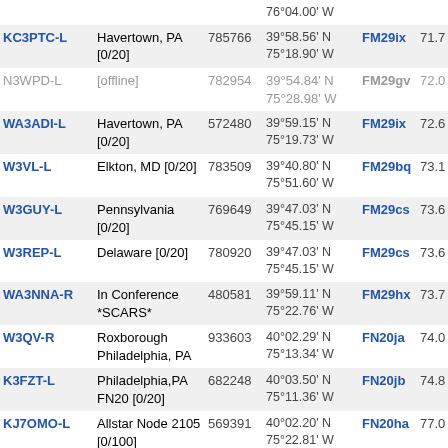| Callsign | Location | ID | Coordinates | Grid | Dist | Extra |
| --- | --- | --- | --- | --- | --- | --- |
|  |  |  | 76°04.00' W |  |  |  |
| KC3PTC-L | Havertown, PA [0/20] | 785766 | 39°58.56' N 75°18.90' W | FM29ix | 71.7 |  |
| N3WPD-L [offline] | [offline] | 782954 | 39°54.84' N 75°28.98' W | FM29gv | 72.0 |  |
| WA3ADI-L | Havertown, PA [0/20] | 572480 | 39°59.15' N 75°19.73' W | FM29ix | 72.6 | 145.5 |
| W3VL-L | Elkton, MD [0/20] | 783509 | 39°40.80' N 75°51.60' W | FM29bq | 73.1 | 446.1 |
| W3GUY-L | Pennsylvania [0/20] | 769649 | 39°47.03' N 75°45.15' W | FM29cs | 73.6 |  |
| W3REP-L | Delaware [0/20] | 780920 | 39°47.03' N 75°45.15' W | FM29cs | 73.6 |  |
| WA3NNA-R | In Conference *SCARS* | 480581 | 39°59.11' N 75°22.76' W | FM29hx | 73.7 | 442.6 |
| W3QV-R | Roxborough Philadelphia, PA | 933603 | 40°02.29' N 75°13.34' W | FN20ja | 74.0 |  |
| K3FZT-L | Philadelphia,PA FN20 [0/20] | 682248 | 40°03.50' N 75°11.36' W | FN20jb | 74.8 |  |
| KJ7OMO-L | Allstar Node 2105 [0/100] | 569391 | 40°02.20' N 75°22.81' W | FN20ha | 77.0 |  |
| K3YO-L | Conshohocken, PA [0/20] | 445823 | 40°04.74' N 75°18.06' W | FN20ib | 78.1 |  |
| KE6BAP-L [offline] | [offline] | 759849 | 39°32.82' N 76°06.54' W | FM19wn | 79.4 |  |
| KD2IGN-L | In Conference *LATINOS* | 821429 | 40°13.00' N 74°44.00' W | FN20pf | 82.8 | 144.0 |